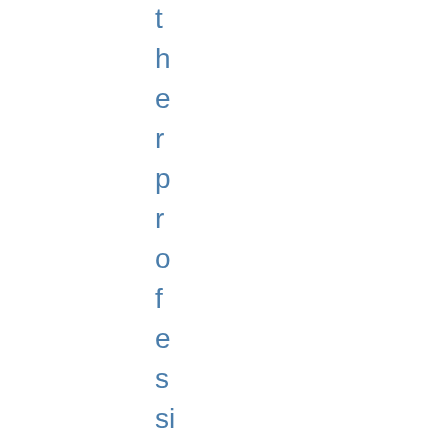t h e r p r o f e s si o n a ls , t